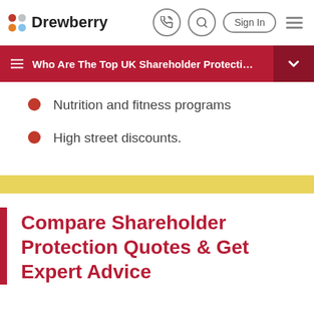Drewberry
Who Are The Top UK Shareholder Protection Insura...
Nutrition and fitness programs
High street discounts.
Compare Shareholder Protection Quotes & Get Expert Advice